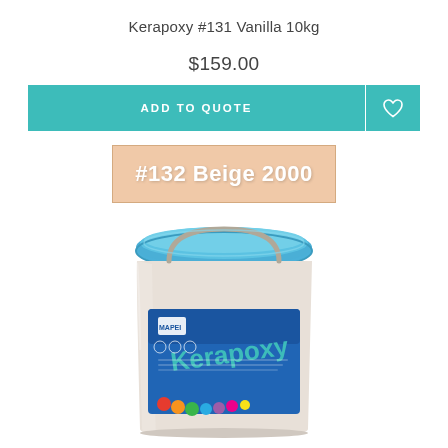Kerapoxy #131 Vanilla 10kg
$159.00
ADD TO QUOTE
#132 Beige 2000
[Figure (photo): A white plastic bucket with a blue lid, branded with MAPEI Kerapoxy logo and colourful design on the label.]